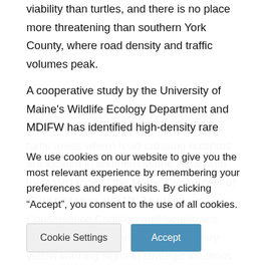viability than turtles, and there is no place more threatening than southern York County, where road density and traffic volumes peak.
A cooperative study by the University of Maine's Wildlife Ecology Department and MDIFW has identified high-density rare turtle areas where road-crossing hotspots are located in southern Maine. Now, with the assistance of the Maine Department of Transportation, the Mt. Agamenticus Conservation Coalition and local towns, state biologists are installing temporary yellow warning signs in strategic locations to alert motorists to the possible presence of turtles on the roadway. The signs will only be deployed
We use cookies on our website to give you the most relevant experience by remembering your preferences and repeat visits. By clicking “Accept”, you consent to the use of all cookies.